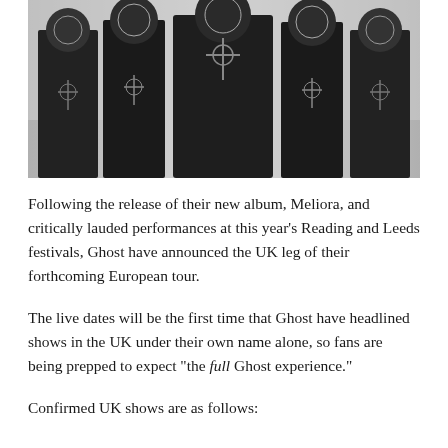[Figure (photo): Black and white group photo of the band Ghost, five members wearing masks and dark ceremonial/occult costumes with cross symbols, posed together against a light background.]
Following the release of their new album, Meliora, and critically lauded performances at this year's Reading and Leeds festivals, Ghost have announced the UK leg of their forthcoming European tour.
The live dates will be the first time that Ghost have headlined shows in the UK under their own name alone, so fans are being prepped to expect "the full Ghost experience."
Confirmed UK shows are as follows: